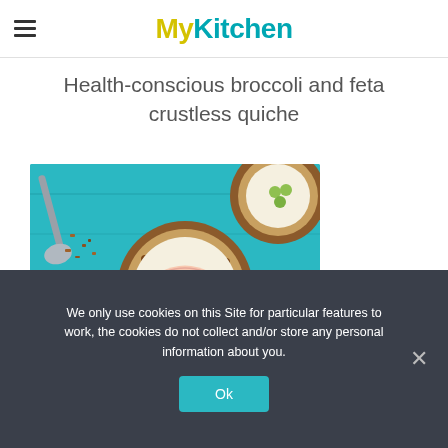MyKitchen
Health-conscious broccoli and feta crustless quiche
[Figure (photo): Overhead photo of fruit tarts with granola crust topped with cream, raspberries, green grapes, and apple slices on a teal wooden surface with a spoon of granola nearby]
We only use cookies on this Site for particular features to work, the cookies do not collect and/or store any personal information about you.